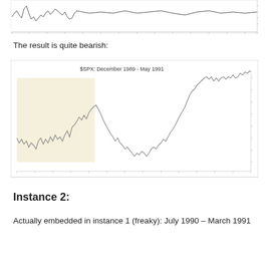[Figure (continuous-plot): Partial stock chart shown at top of page, cropped — shows a jagged line chart with x-axis tick marks, continuation from previous page]
The result is quite bearish:
[Figure (continuous-plot): $SPX line chart from December 1989 to May 1991. Shows a highlighted region (beige/yellow shading) from approximately December 1989 to around July 1990 representing an earlier pattern instance. The line rises to a peak around July 1990 then falls sharply into late 1990, then recovers strongly through May 1991. Title: $SPX: December 1989 - May 1991.]
Instance 2:
Actually embedded in instance 1 (freaky): July 1990 – March 1991